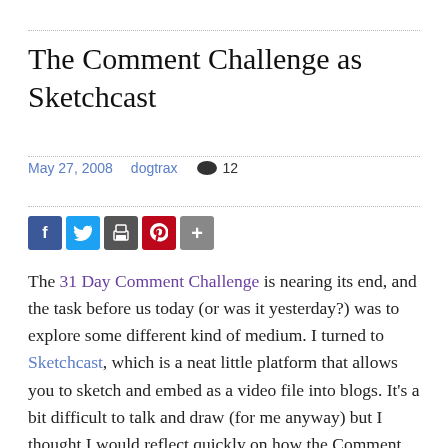The Comment Challenge as Sketchcast
May 27, 2008   dogtrax   💬 12
[Figure (infographic): Social sharing buttons: Facebook (blue), Twitter (light blue), Print (dark gray), Pinterest (red), More (gray plus)]
The 31 Day Comment Challenge is nearing its end, and the task before us today (or was it yesterday?) was to explore some different kind of medium. I turned to Sketchcast, which is a neat little platform that allows you to sketch and embed as a video file into blogs. It's a bit difficult to talk and draw (for me anyway) but I thought I would reflect quickly on how the Comment Challenge is bringing me outside of my traditional blogging circles in interesting ways. I then tried to capture that in my crude drawing.